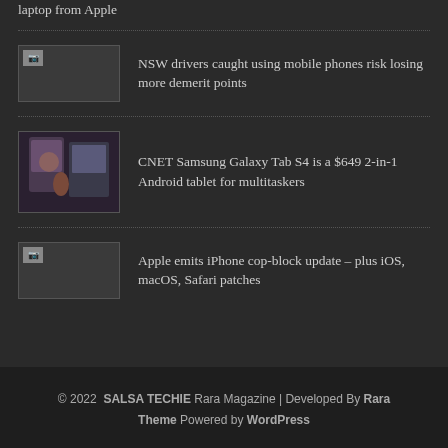laptop from Apple
NSW drivers caught using mobile phones risk losing more demerit points
CNET Samsung Galaxy Tab S4 is a $649 2-in-1 Android tablet for multitaskers
Apple emits iPhone cop-block update – plus iOS, macOS, Safari patches
© 2022  SALSA TECHIE  Rara Magazine | Developed By  Rara Theme  Powered by  WordPress